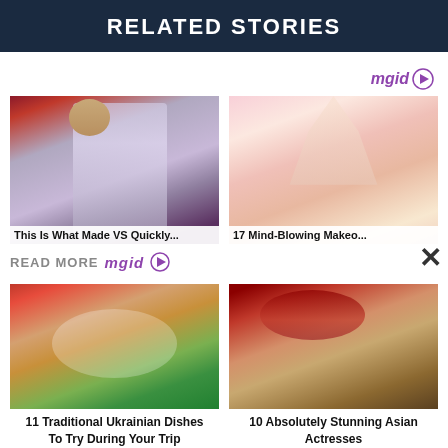RELATED STORIES
[Figure (photo): Top-left: Woman in purple dress at red carpet event]
[Figure (photo): Top-right: Person with elaborate pink headdress and costume makeup]
This Is What Made VS Quickly...
17 Mind-Blowing Makeo...
READ MORE mgid
[Figure (photo): Bottom-left: Traditional Ukrainian dish on a plate with vegetables]
[Figure (photo): Bottom-right: Asian actress with red rose headpiece]
11 Traditional Ukrainian Dishes To Try During Your Trip
10 Absolutely Stunning Asian Actresses